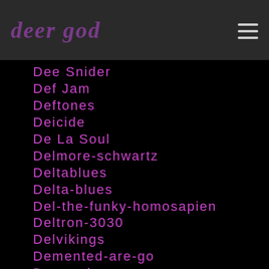deer god
Dee Snider
Def Jam
Deftones
Deicide
De La Soul
Delmore-schwartz
Deltablues
Delta-blues
Del-the-funky-homosapien
Deltron-3030
Delvikings
Demented-are-go
Denmark
Dennis-rodman
Dennis-seaman
Dennis-wilson